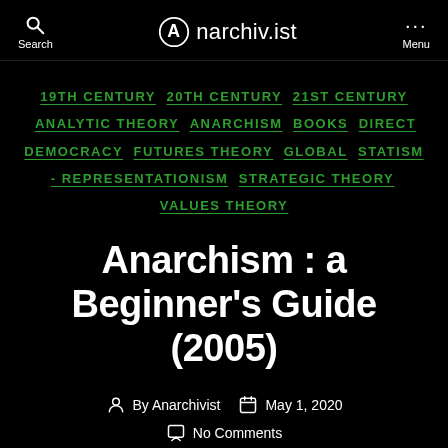Search  anarchiv.ist  Menu
19TH CENTURY  20TH CENTURY  21ST CENTURY  ANALYTIC THEORY  ANARCHISM  BOOKS  DIRECT DEMOCRACY  FUTURES THEORY  GLOBAL  STATISM - REPRESENTATIONISM  STRATEGIC THEORY  VALUES THEORY
Anarchism : a Beginner's Guide (2005)
By Anarchivist  May 1, 2020  No Comments